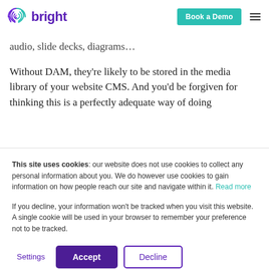bright — Book a Demo
audio, slide decks, diagrams…
Without DAM, they're likely to be stored in the media library of your website CMS. And you'd be forgiven for thinking this is a perfectly adequate way of doing
This site uses cookies: our website does not use cookies to collect any personal information about you. We do however use cookies to gain information on how people reach our site and navigate within it. Read more

If you decline, your information won't be tracked when you visit this website. A single cookie will be used in your browser to remember your preference not to be tracked.
Settings    Accept    Decline